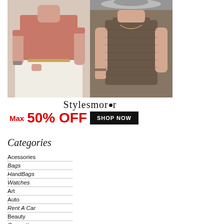[Figure (photo): Fashion advertisement banner showing two women in stylish clothing. Left image: woman in pink/blush short-sleeve top and wide-leg white trousers with a gold belt. Right top: woman in dark outfit with hat. Right bottom: woman in brown ribbed tank top with accessories.]
Stylesmor
Max 50% OFF  SHOP NOW
Categories
Acessories
Bags
HandBags
Watches
Art
Auto
Rent A Car
Beauty
Cosmetics
Makeup
Bridal Makeup